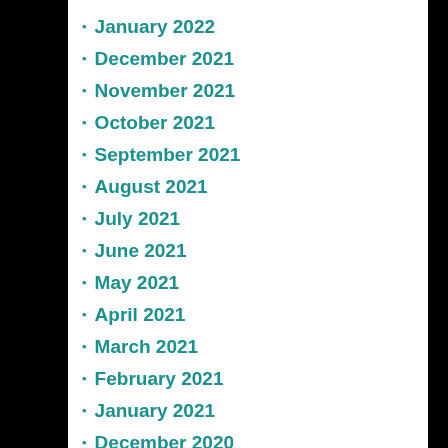January 2022
December 2021
November 2021
October 2021
September 2021
August 2021
July 2021
June 2021
May 2021
April 2021
March 2021
February 2021
January 2021
December 2020
November 2020
October 2020
September 2020
August 2020
July 2020
June 2020
May 2020